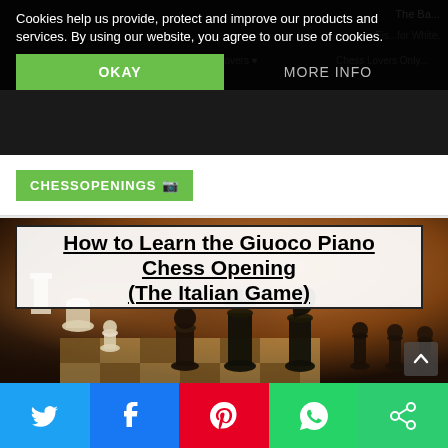Cookies help us provide, protect and improve our products and services. By using our website, you agree to our use of cookies.
OKAY
MORE INFO
CHESSOPENINGS
[Figure (photo): Chess pieces on a board, dark background, hero image for chess opening article]
How to Learn the Giuoco Piano Chess Opening (The Italian Game)
[Figure (infographic): Social sharing bar with Twitter, Facebook, Pinterest, WhatsApp, and share buttons]